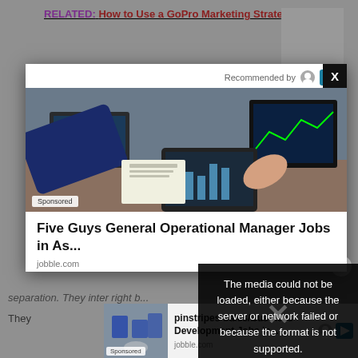RELATED:  How to Use a GoPro Marketing Strategy in Your
[Figure (screenshot): Advertisement modal overlay showing two business people reviewing financial charts on a tablet and laptop. Contains 'Recommended by' label, a sponsored badge, and a close X button.]
Five Guys General Operational Manager Jobs in As...
jobble.com
[Figure (screenshot): Error message overlay: 'The media could not be loaded, either because the server or network failed or because the format is not supported.']
separation. They inter right b...
They
[Figure (screenshot): Bottom advertisement: pinstripes Sales/Business Development Jobs in... from jobble.com with a Sponsored badge and recommendation icons.]
pinstripes Sales/Business Development Jobs in...
jobble.com